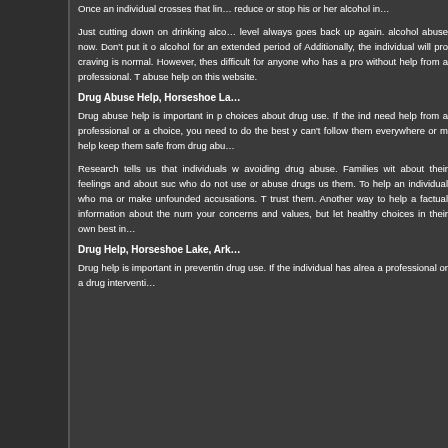Once an individual crosses that line, it is very difficult to reduce or stop his or her alcohol intake without professional help.
Just cutting down on drinking alcohol is not enough because the level always goes back up again. You need to take care of your alcohol abuse now. Don't put it off. If you have been drinking alcohol for an extended period of time, quitting is not easy. Additionally, the individual will probably experience cravings. A craving is normal. However, these things make it especially difficult for anyone who has a problem with alcohol to stop drinking without help from a professional. There is information about alcohol abuse help on this website.
Drug Abuse Help, Horseshoe La...
Drug abuse help is important in preventing or stopping bad choices about drug use. If the individual has already started, you need help from a professional or a drug intervention to stop the choice, you need to do the best you can to protect them. You can't follow them everywhere or monitor their every move, but you help keep them safe from drug abu...
Research tells us that individuals who are most successful at avoiding drug abuse. Families with open communication styles about their feelings and about such topics tend to raise children who do not use or abuse drugs usually feel that their parents trust them. To help an individual who may be using drugs, don't or make unfounded accusations. This will only make them distrust them. Another way to help an individual is to provide factual information about the numerous affects of drug use. Share your concerns and values, but let them know they can make healthy choices in their own best in...
Drug Help, Horseshoe Lake, Ark...
Drug help is important in preventing or stopping addiction or drug use. If the individual has already started, you may need a professional or a drug interventi...